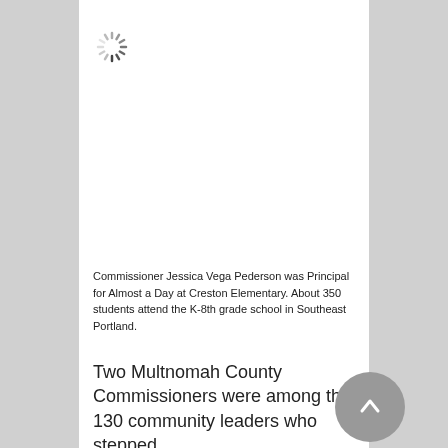[Figure (other): Loading spinner icon in top-left area of white content panel]
Commissioner Jessica Vega Pederson was Principal for Almost a Day at Creston Elementary. About 350 students attend the K-8th grade school in Southeast Portland.
Two Multnomah County Commissioners were among the 130 community leaders who stepped